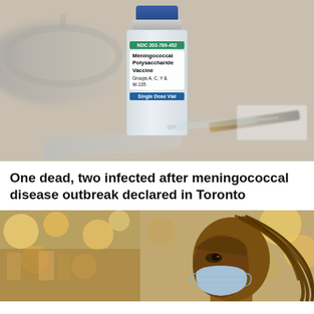[Figure (photo): A Meningococcal Polysaccharide Vaccine vial (NDC 203-789-452, Groups A, C, Y & W-135, Single Dose Vial) with a blue cap, shown alongside a stethoscope, syringe, pen, and notepad on a beige background.]
One dead, two infected after meningococcal disease outbreak declared in Toronto
[Figure (photo): Two-panel photo: left side shows blurred store/supermarket shelves with bright lights; right side shows a Black woman wearing a light blue medical face mask, with long braided hair, in a blurred market setting.]